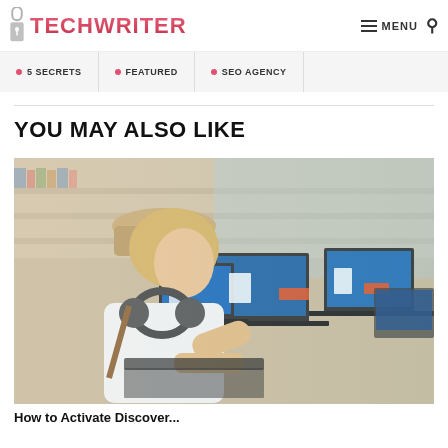TECHWRITER — MENU [search]
• 5 SECRETS
• FEATURED
• SEO AGENCY
YOU MAY ALSO LIKE
[Figure (photo): Woman with headphones wearing a hat looking at a laptop in an electronics store with multiple laptops on display and store shelves in the background.]
How to Activate Discover...